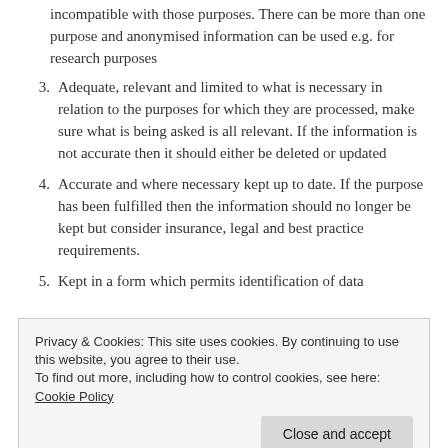incompatible with those purposes. There can be more than one purpose and anonymised information can be used e.g. for research purposes
3. Adequate, relevant and limited to what is necessary in relation to the purposes for which they are processed, make sure what is being asked is all relevant. If the information is not accurate then it should either be deleted or updated
4. Accurate and where necessary kept up to date. If the purpose has been fulfilled then the information should no longer be kept but consider insurance, legal and best practice requirements.
5. Kept in a form which permits identification of data
Privacy & Cookies: This site uses cookies. By continuing to use this website, you agree to their use. To find out more, including how to control cookies, see here: Cookie Policy
6. Processed in a manner that ensures appropriate security